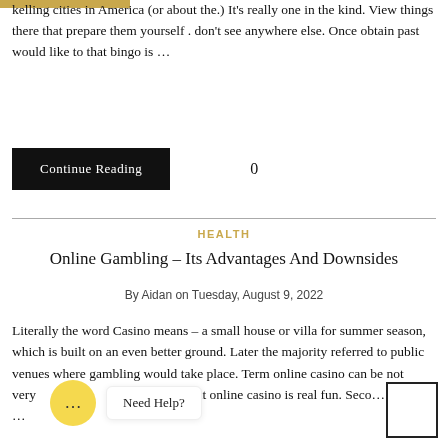kelling cities in America (or about the.) It's really one in the kind. View things there that prepare them yourself . don't see anywhere else. Once obtain past would like to that bingo is …
Continue Reading    0
HEALTH
Online Gambling – Its Advantages And Downsides
By Aidan on Tuesday, August 9, 2022
Literally the word Casino means – a small house or villa for summer season, which is built on an even better ground. Later the majority referred to public venues where gambling would take place. Term online casino can be not very... both... n say that online casino is real fun. Seco... osite …